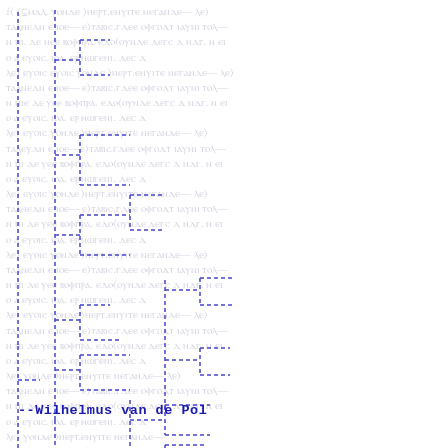[Figure (other): Genealogical tree diagram rendered as dashed blue lines forming a branching hierarchy structure overlaid on faded handwritten manuscript text background]
--Wilhelmus van de Pol